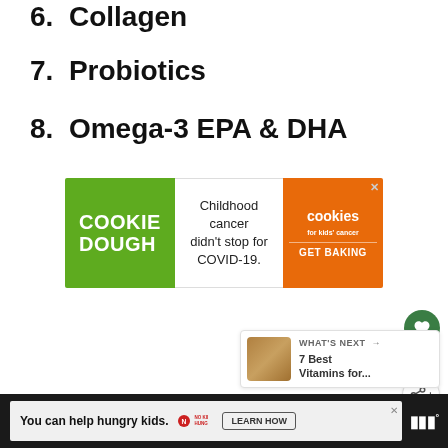6. Collagen
7. Probiotics
8. Omega-3 EPA & DHA
[Figure (other): Advertisement banner for Cookie Dough for Kids Cancer campaign. Green section with COOKIE DOUGH text, white center with 'Childhood cancer didn't stop for COVID-19.', orange right section with cookies for kids cancer logo and GET BAKING button.]
[Figure (other): Green circular like/heart button with heart icon]
2
[Figure (other): White circular share button with share icon]
[Figure (other): What's Next card showing '7 Best Vitamins for...' with thumbnail image]
[Figure (other): Bottom advertisement bar: 'You can help hungry kids.' with No Kid Hungry logo and LEARN HOW button on dark background]